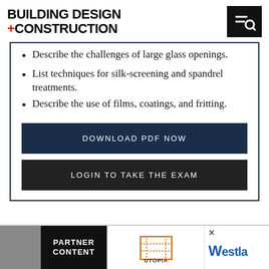BUILDING DESIGN +CONSTRUCTION
Describe the challenges of large glass openings.
List techniques for silk-screening and spandrel treatments.
Describe the use of films, coatings, and fritting.
DOWNLOAD PDF NOW
LOGIN TO TAKE THE EXAM
[Figure (logo): PARTNER section with Utopia logo and Westla logo at the bottom strip]